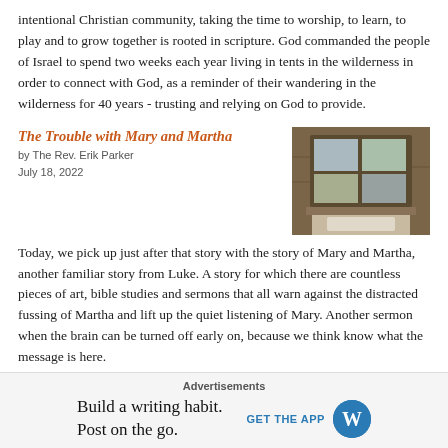intentional Christian community, taking the time to worship, to learn, to play and to grow together is rooted in scripture. God commanded the people of Israel to spend two weeks each year living in tents in the wilderness in order to connect with God, as a reminder of their wandering in the wilderness for 40 years - trusting and relying on God to provide.
The Trouble with Mary and Martha
by The Rev. Erik Parker
July 18, 2022
[Figure (photo): Window above a farmhouse kitchen sink with stone wall]
Today, we pick up just after that story with the story of Mary and Martha, another familiar story from Luke. A story for which there are countless pieces of art, bible studies and sermons that all warn against the distracted fussing of Martha and lift up the quiet listening of Mary. Another sermon when the brain can be turned off early on, because we think know what the message is here.
Church conventions are boring...and vitally important – Pastor Thoughts
by The Rev. Erik Parker
[Figure (photo): Image with text WELL, and person below]
Advertisements
Build a writing habit.
Post on the go.
GET THE APP